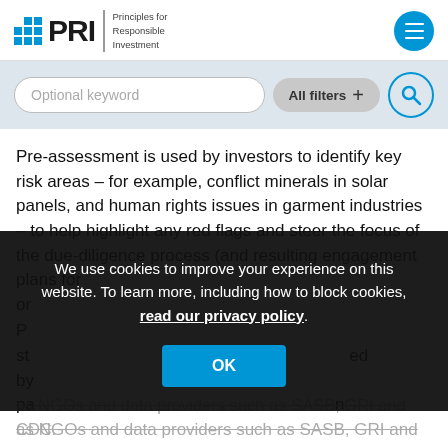PRI — Principles for Responsible Investment
Optional keyword
All filters +
Pre-assessment is used by investors to identify key risk areas – for example, conflict minerals in solar panels, and human rights issues in garment industries – to help highlight any red flags and steer the focus of the due-diligence process (and resulting engagement plans for or...
We use cookies to improve your experience on this website. To learn more, including how to block cookies, read our privacy policy.
OK
as NGOs and data providers such as SASB, GRI and CDC.